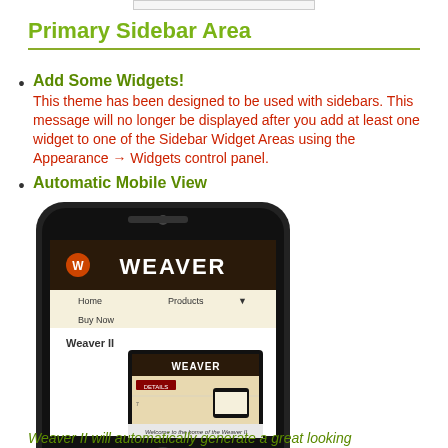Primary Sidebar Area
Add Some Widgets!
This theme has been designed to be used with sidebars. This message will no longer be displayed after you add at least one widget to one of the Sidebar Widget Areas using the Appearance → Widgets control panel.
Automatic Mobile View
[Figure (screenshot): A smartphone showing the Weaver II WordPress theme website on its screen, with a nested screenshot of the same site inside the phone display.]
Weaver II will automatically generate a great looking